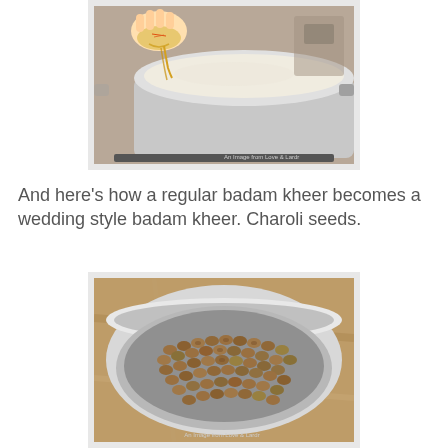[Figure (photo): A hand pouring saffron-infused liquid from a small metal bowl into a large stainless steel pot on a stove containing a creamy white liquid (badam kheer). Watermark reads 'An Image from Love & Lardr'.]
And here's how a regular badam kheer becomes a wedding style badam kheer. Charoli seeds.
[Figure (photo): A stainless steel bowl filled with charoli seeds (small, flat, round brown seeds) placed on a granite countertop. Watermark reads 'An Image from Love & Lardr'.]